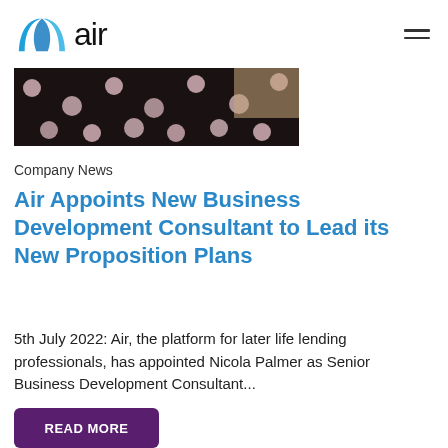air
[Figure (photo): Close-up photo of a dark fabric with pink polka dots]
Company News
Air Appoints New Business Development Consultant to Lead its New Proposition Plans
5th July 2022: Air, the platform for later life lending professionals, has appointed Nicola Palmer as Senior Business Development Consultant...
READ MORE